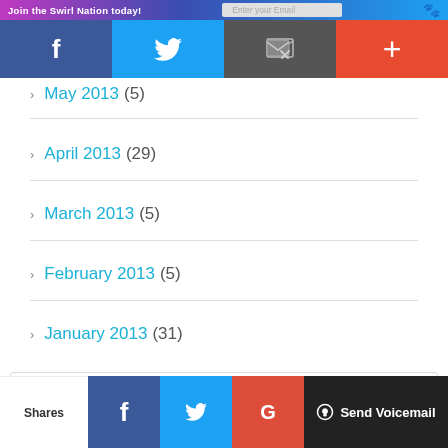Join the Swirl Nation today! [Enter your Email]
April 2013 (29)
March 2013 (5)
February 2013 (5)
January 2013 (31)
Privacy & Cookies: This site uses cookies. By continuing to use this website, you agree to their use. To find out more, including how to control cookies, see here: Cookie Policy
Shares [Facebook] [Twitter] [Google+] [Send Voicemail]